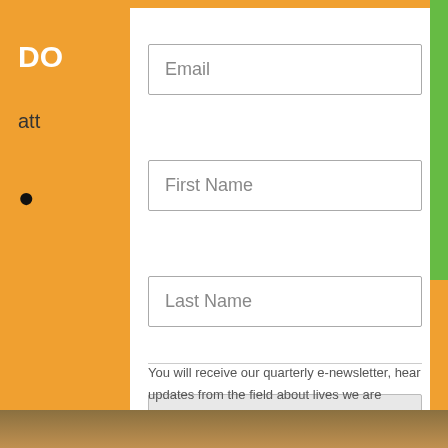DO
att
•
Email
First Name
Last Name
Subscribe
You will receive our quarterly e-newsletter, hear updates from the field about lives we are transforming together, and learn about opportunities to get involved. #SolvePollution